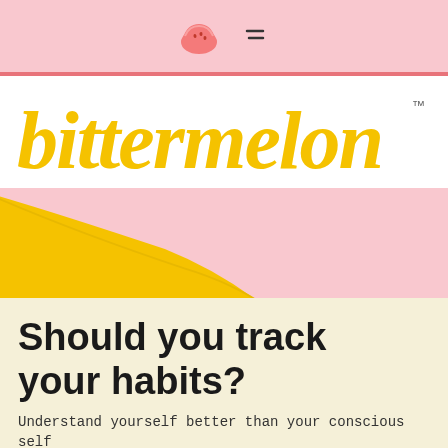bittermelon navigation bar with watermelon slice icon and menu icon
[Figure (logo): bittermelon logo in yellow handwritten/brush style font with TM mark]
Should you track your habits?
Understand yourself better than your conscious self allows